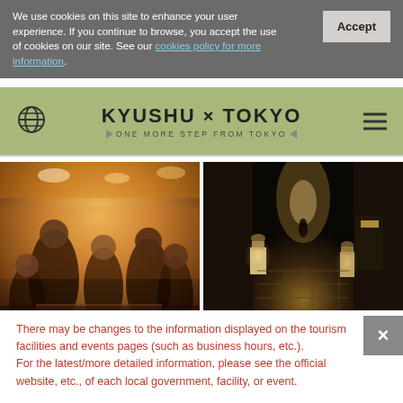We use cookies on this site to enhance your user experience. If you continue to browse, you accept the use of cookies on our site. See our cookies policy for more information.
KYUSHU × TOKYO — ONE MORE STEP FROM TOKYO
[Figure (photo): Crowded izakaya bar scene with many people socializing, warm lighting, Japanese restaurant interior]
[Figure (photo): Night-time cobblestone alley in Japan with lanterns glowing on both sides, atmospheric evening street scene]
There may be changes to the information displayed on the tourism facilities and events pages (such as business hours, etc.). For the latest/more detailed information, please see the official website, etc., of each local government, facility, or event.